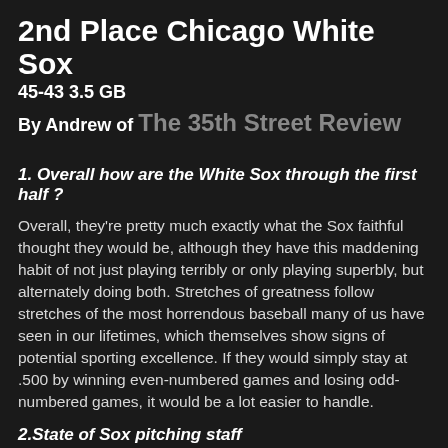2nd Place Chicago White Sox
45-43 3.5 GB
By Andrew of The 35th Street Review
1. Overall how are the White Sox through the first half ?
Overall, they're pretty much exactly what the Sox faithful thought they would be, although they have this maddening habit of not just playing terribly or only playing superbly, but alternately doing both. Stretches of greatness follow stretches of the most horrendous baseball many of us have seen in our lifetimes, which themselves show signs of potential sporting excellence. If they would simply stay at .500 by winning even-numbered games and losing odd-numbered games, it would be a lot easier to handle.
2.State of Sox pitching staff
Despite what they call Clayton Richard and Bartolo Colon, the Sox still don't have a fifth starter, and at some point we're